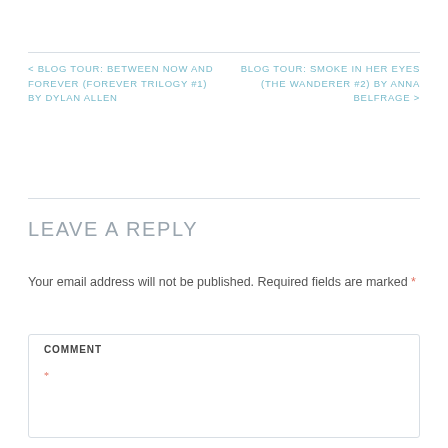< BLOG TOUR: BETWEEN NOW AND FOREVER (FOREVER TRILOGY #1) BY DYLAN ALLEN
BLOG TOUR: SMOKE IN HER EYES (THE WANDERER #2) BY ANNA BELFRAGE >
LEAVE A REPLY
Your email address will not be published. Required fields are marked *
COMMENT *